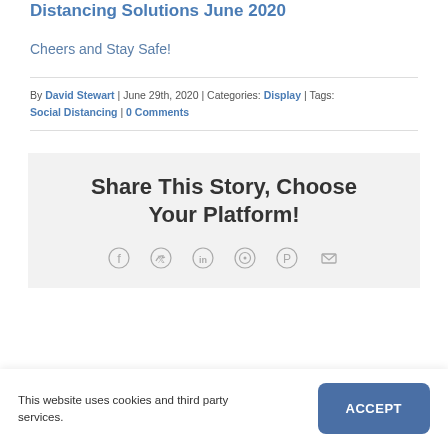Check it out – Reabtu 13 Catalogue _Social Distancing Solutions June 2020
Cheers and Stay Safe!
By David Stewart | June 29th, 2020 | Categories: Display | Tags: Social Distancing | 0 Comments
Share This Story, Choose Your Platform!
[Figure (infographic): Social media share icons: Facebook, Twitter, LinkedIn, WhatsApp, Pinterest, Email]
This website uses cookies and third party services.